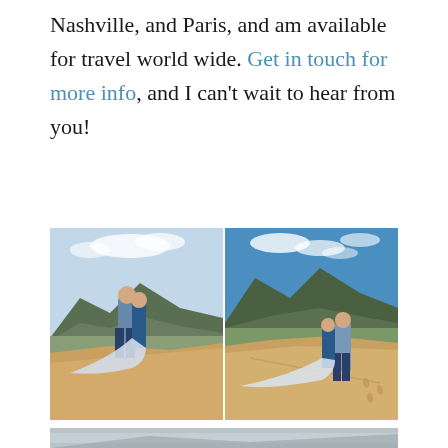Nashville, and Paris, and am available for travel world wide. Get in touch for more info, and I can't wait to hear from you!
[Figure (photo): Two side-by-side outdoor engagement or wedding photos. Both show a couple (woman in a flowy light blue/white gown, man in light blue shirt and dark jeans) standing on large sand dunes with mountains in the background under a blue sky. Left photo is a closer portrait view; right photo is a wider landscape view showing more of the mountains and the dress trailing on the sand.]
[Figure (photo): Partial photo at bottom of page, showing the beginning of another outdoor scene with mountains and sky, partially cut off.]